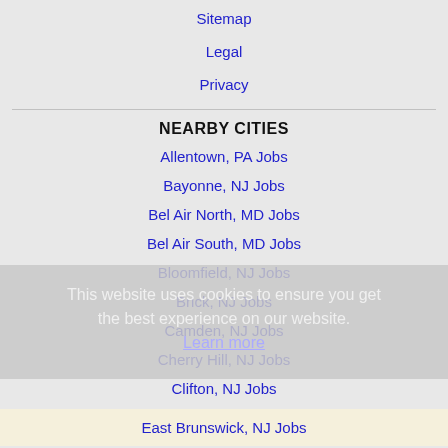Sitemap
Legal
Privacy
NEARBY CITIES
Allentown, PA Jobs
Bayonne, NJ Jobs
Bel Air North, MD Jobs
Bel Air South, MD Jobs
Bloomfield, NJ Jobs
Brick, NJ Jobs
Camden, NJ Jobs
Cherry Hill, NJ Jobs
Clifton, NJ Jobs
East Brunswick, NJ Jobs
East Orange, NJ Jobs
Edison, NJ Jobs
This website uses cookies to ensure you get the best experience on our website. Learn more